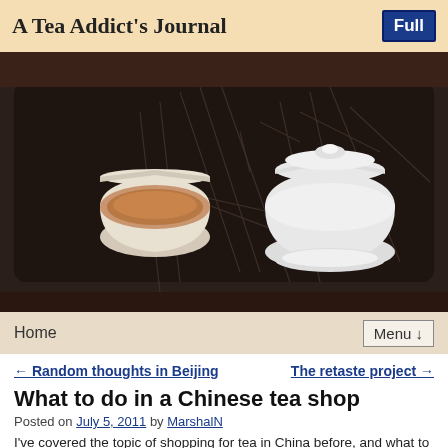A Tea Addict's Journal
[Figure (photo): Photo of a dark wooden tea tray holding a small white teacup filled with amber tea on the left and a white lidded gaiwan on the right, with bamboo engravings on the tray surface.]
Home | Menu ↓
← Random thoughts in Beijing
The retaste project →
What to do in a Chinese tea shop
Posted on July 5, 2011 by MarshalN
I've covered the topic of shopping for tea in China before, and what to do, generally speaking, when going into tea stores of various types.  At the time I divided the stores into two categories – puerh shops, and non-puerh shops.  Generally speaking, I think my comments there still hold true.  If I can distill down to a shorter version, I'd say, for now...